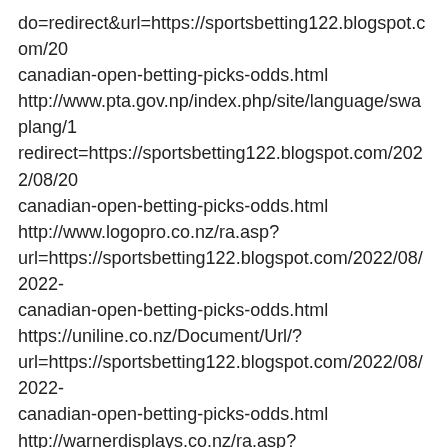do=redirect&url=https://sportsbetting122.blogspot.com/20 canadian-open-betting-picks-odds.html http://www.pta.gov.np/index.php/site/language/swaplang/1 redirect=https://sportsbetting122.blogspot.com/2022/08/20 canadian-open-betting-picks-odds.html http://www.logopro.co.nz/ra.asp? url=https://sportsbetting122.blogspot.com/2022/08/2022-canadian-open-betting-picks-odds.html https://uniline.co.nz/Document/Url/? url=https://sportsbetting122.blogspot.com/2022/08/2022-canadian-open-betting-picks-odds.html http://warnerdisplays.co.nz/ra.asp? url=https://sportsbetting122.blogspot.com/2022/08/2022-canadian-open-betting-picks-odds.html http://www.communityweb.org/ASP2/adredir.asp? url=https://sportsbetting122.blogspot.com/2022/08/2022-canadian-open-betting-picks-